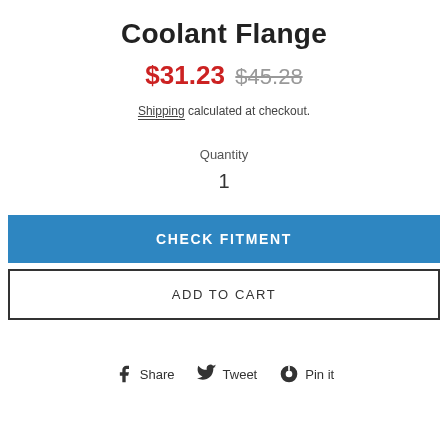Coolant Flange
$31.23  $45.28
Shipping calculated at checkout.
Quantity
1
CHECK FITMENT
ADD TO CART
Share  Tweet  Pin it